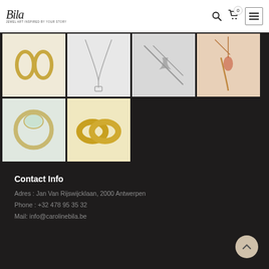[Figure (logo): Bila jewellery script logo with tagline 'JEWEL ART INSPIRED BY YOUR STORY']
[Figure (photo): Grid of 6 jewellery photos: gold hoop earrings, silver necklace, chain pendant, copper/rose gold pendant, opal ring, gold wedding bands]
Contact Info
Adres : Jan Van Rijswijcklaan, 2000 Antwerpen
Phone : +32 478 95 35 32
Mail: info@carolinebila.be